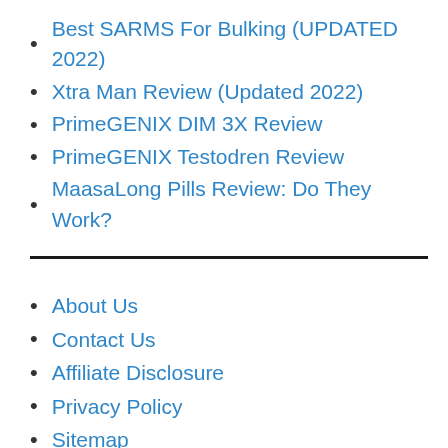Best SARMS For Bulking (UPDATED 2022)
Xtra Man Review (Updated 2022)
PrimeGENIX DIM 3X Review
PrimeGENIX Testodren Review
MaasaLong Pills Review: Do They Work?
About Us
Contact Us
Affiliate Disclosure
Privacy Policy
Sitemap